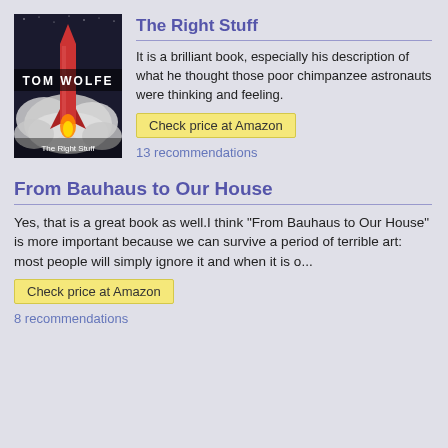[Figure (photo): Book cover of 'The Right Stuff' by Tom Wolfe, showing a rocket launching with smoke clouds, text 'TOM WOLFE' visible]
The Right Stuff
It is a brilliant book, especially his description of what he thought those poor chimpanzee astronauts were thinking and feeling.
Check price at Amazon
13 recommendations
From Bauhaus to Our House
Yes, that is a great book as well.I think "From Bauhaus to Our House" is more important because we can survive a period of terrible art: most people will simply ignore it and when it is o...
Check price at Amazon
8 recommendations